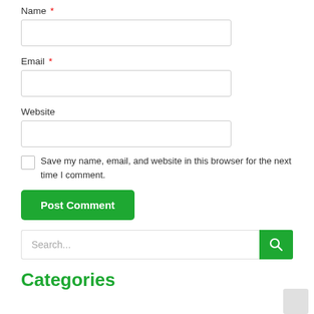Name *
[Figure (other): Text input field for Name]
Email *
[Figure (other): Text input field for Email]
Website
[Figure (other): Text input field for Website]
Save my name, email, and website in this browser for the next time I comment.
[Figure (other): Post Comment button (green)]
[Figure (other): Search input field with green search button]
Categories